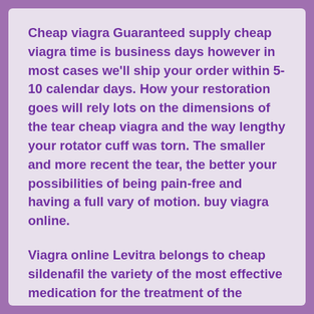Cheap viagra Guaranteed supply cheap viagra time is business days however in most cases we'll ship your order within 5-10 calendar days. How your restoration goes will rely lots on the dimensions of the tear cheap viagra and the way lengthy your rotator cuff was torn. The smaller and more recent the tear, the better your possibilities of being pain-free and having a full vary of motion. buy viagra online.
Viagra online Levitra belongs to cheap sildenafil the variety of the most effective medication for the treatment of the erectile dysfunction. It better goes with aged men because it is safer than the analogs, offers the fastest action and doesn't load the hear system. By effectivity Levitra is cialis 20mg not worse than the preferred drug for the remedy of impotence